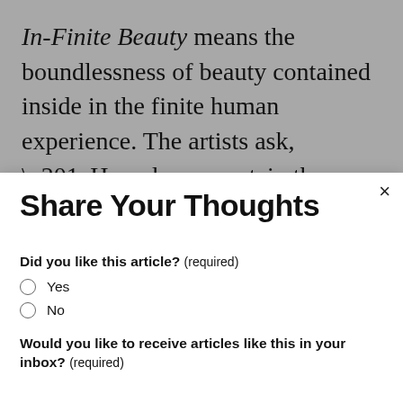In-Finite Beauty means the boundlessness of beauty contained inside in the finite human experience. The artists ask, “How do we contain the infinite expanse of beauty inside the finite structure of the human identity?” Kristi and Adrian have
Share Your Thoughts
Did you like this article? (required)
Yes
No
Would you like to receive articles like this in your inbox? (required)